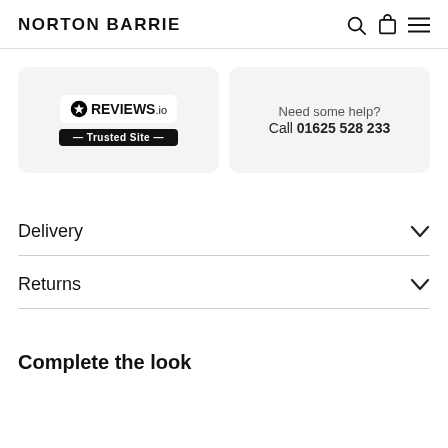NORTON BARRIE
[Figure (logo): REVIEWS.io Trusted Site badge logo]
Need some help? Call 01625 528 233
Delivery
Returns
Complete the look